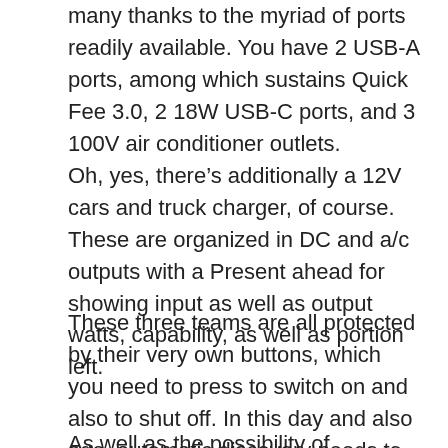many thanks to the myriad of ports readily available. You have 2 USB-A ports, among which sustains Quick Fee 3.0, 2 18W USB-C ports, and 3 100V air conditioner outlets.
Oh, yes, there's additionally a 12V cars and truck charger, of course. These are organized in DC and a/c outputs with a Present ahead for showing input as well as output watts, capability, as well as portion left.
These three teams are all protected by their very own buttons, which you need to press to switch on and also to shut off. In this day and also age, automatic discovery needs to be the norm.
As well as the possibility of accidentally pushing those buttons while the power station rocks to